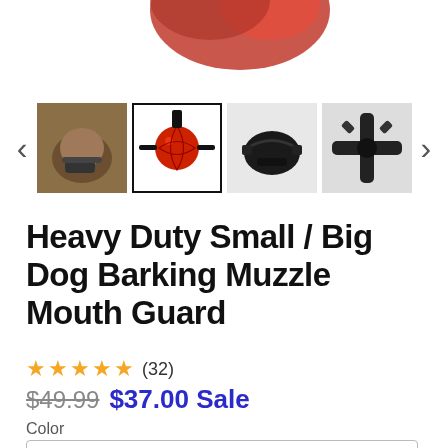[Figure (photo): Partial view of a red dog muzzle, cropped at top of page]
[Figure (photo): Carousel of 4 product thumbnail images showing dog muzzles, with left and right navigation arrows. Second thumbnail (red ball muzzle) is selected with border.]
Heavy Duty Small / Big Dog Barking Muzzle Mouth Guard
★★★★★ (32)
$49.99  $37.00 Sale
Color